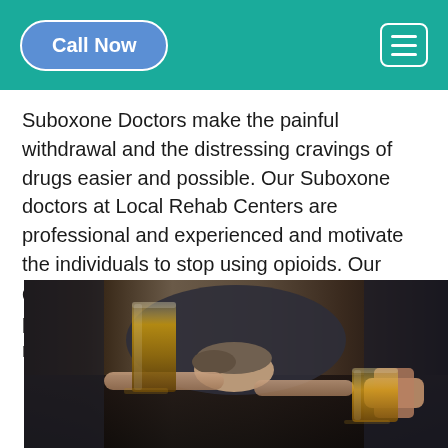Call Now
Suboxone Doctors make the painful withdrawal and the distressing cravings of drugs easier and possible. Our Suboxone doctors at Local Rehab Centers are professional and experienced and motivate the individuals to stop using opioids. Our doctors are qualified to provide you with a prescription for Suboxone if you need the medication.
[Figure (photo): A person slumped over a table with head down, two glasses of amber whiskey/alcohol on the table, hands visible, people in suits]